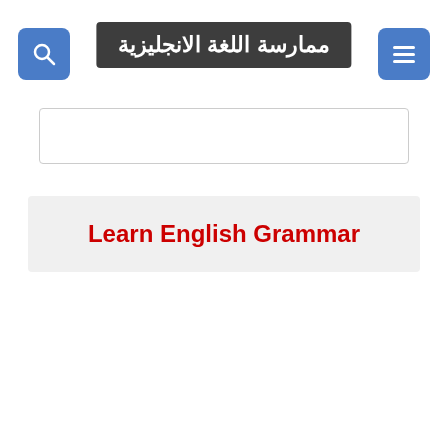ممارسة اللغة الانجليزية
Learn English Grammar